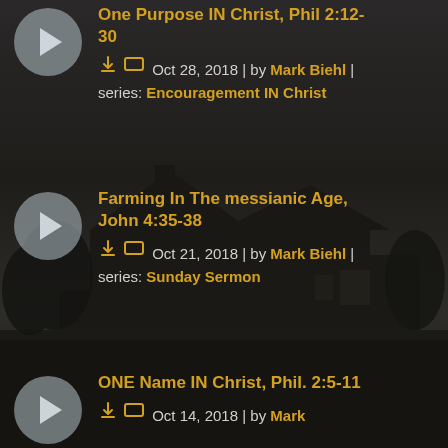One Purpose IN Christ, Phil 2:12-30 | Oct 28, 2018 | by Mark Biehl | series: Encouragement IN Christ
[Figure (photo): Dark background with church building silhouette at dusk]
Farming In The messianic Age, John 4:35-38 | Oct 21, 2018 | by Mark Biehl | series: Sunday Sermon
ONE Name IN Christ, Phil. 2:5-11 | Oct 14, 2018 | by Mark